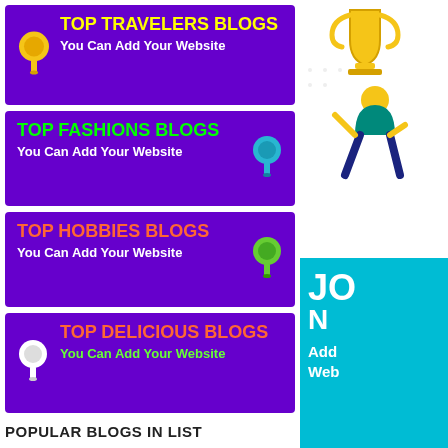[Figure (infographic): Top Travelers Blogs banner - purple background with yellow pin icon, yellow title and white subtitle]
[Figure (infographic): Top Fashions Blogs banner - purple background with teal pin icon, green title and white subtitle]
[Figure (infographic): Top Hobbies Blogs banner - purple background with green pin icon, orange title and white subtitle]
[Figure (infographic): Top Delicious Blogs banner - purple background with white pin icon, orange title and green subtitle]
[Figure (infographic): Right column: gold trophy icon, jumping person illustration, teal box with JO/N/Add Your Website text]
POPULAR BLOGS IN LIST